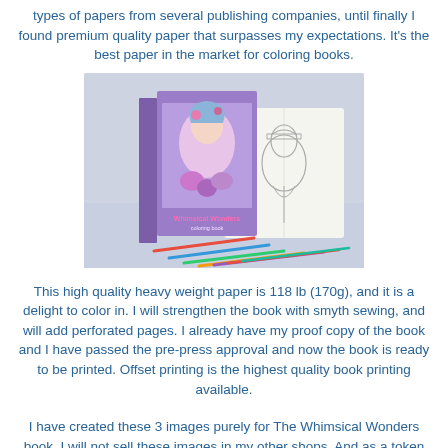types of papers from several publishing companies, until finally I found premium quality paper that surpasses my expectations. It's the best paper in the market for coloring books.
[Figure (photo): Photo of the Whimsical Wonders coloring book cover alongside an open coloring book showing a character illustration, with colored pencils scattered in front.]
This high quality heavy weight paper is 118 lb (170g), and it is a delight to color in. I will strengthen the book with smyth sewing, and will add perforated pages. I already have my proof copy of the book and I have passed the pre-press approval and now the book is ready to be printed. Offset printing is the highest quality book printing available.
I have created these 3 images purely for The Whimsical Wonders book. I will not sell these images in my other shops. And as a token of gratitude my backers will also receive these 3 exclusive images in PDF file for digital download.